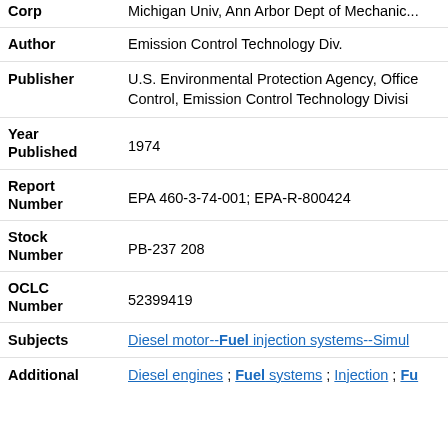Corp: Michigan Univ, Ann Arbor Dept of Mechanic...
Author: Emission Control Technology Div.
Publisher: U.S. Environmental Protection Agency, Office... Control, Emission Control Technology Divisi...
Year Published: 1974
Report Number: EPA 460-3-74-001; EPA-R-800424
Stock Number: PB-237 208
OCLC Number: 52399419
Subjects: Diesel motor--Fuel injection systems--Simul...
Additional: Diesel engines ; Fuel systems ; Injection ; Fue...